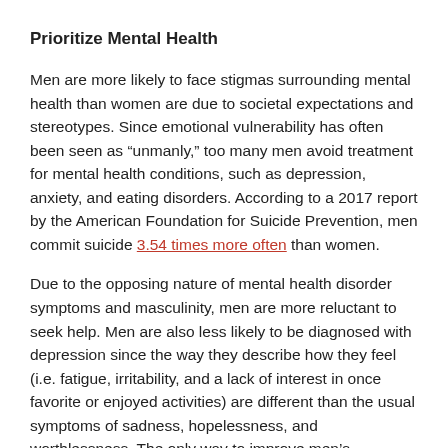Prioritize Mental Health
Men are more likely to face stigmas surrounding mental health than women are due to societal expectations and stereotypes. Since emotional vulnerability has often been seen as “unmanly,” too many men avoid treatment for mental health conditions, such as depression, anxiety, and eating disorders. According to a 2017 report by the American Foundation for Suicide Prevention, men commit suicide 3.54 times more often than women.
Due to the opposing nature of mental health disorder symptoms and masculinity, men are more reluctant to seek help. Men are also less likely to be diagnosed with depression since the way they describe how they feel (i.e. fatigue, irritability, and a lack of interest in once favorite or enjoyed activities) are different than the usual symptoms of sadness, hopelessness, and worthlessness. The only way to improve men's likelihood to receive proper mental health treatment is to de-stigmatize the topic and make it a national conversation.